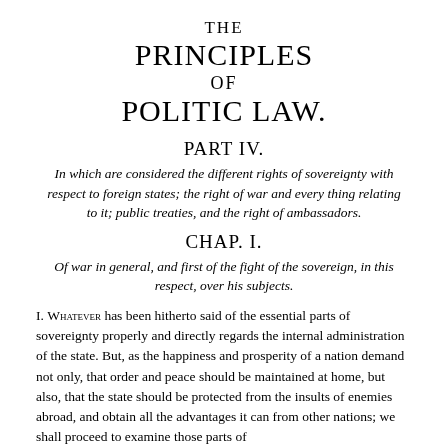THE PRINCIPLES OF POLITIC LAW.
PART IV.
In which are considered the different rights of sovereignty with respect to foreign states; the right of war and every thing relating to it; public treaties, and the right of ambassadors.
CHAP. I.
Of war in general, and first of the fight of the sovereign, in this respect, over his subjects.
I. WHATEVER has been hitherto said of the essential parts of sovereignty properly and directly regards the internal administration of the state. But, as the happiness and prosperity of a nation demand not only, that order and peace should be maintained at home, but also, that the state should be protected from the insults of enemies abroad, and obtain all the advantages it can from other nations; we shall proceed to examine those parts of